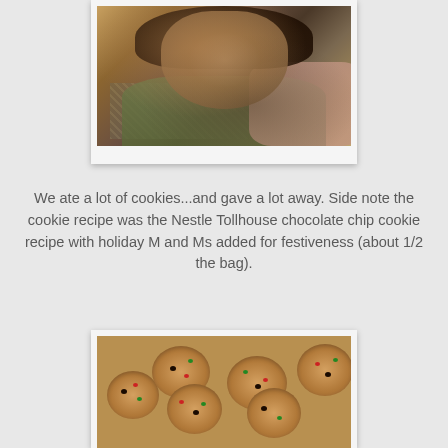[Figure (photo): Photo of a person sleeping/resting, shot from above, with dark hair, wearing an olive/green jacket, resting on a patterned surface. A pink pillow or blanket is visible in the corner.]
We ate a lot of cookies...and gave a lot away. Side note the cookie recipe was the Nestle Tollhouse chocolate chip cookie recipe with holiday M and Ms added for festiveness (about 1/2 the bag).
[Figure (photo): Photo of chocolate chip cookies with colorful holiday M&Ms (red and green) on a white surface/plate.]